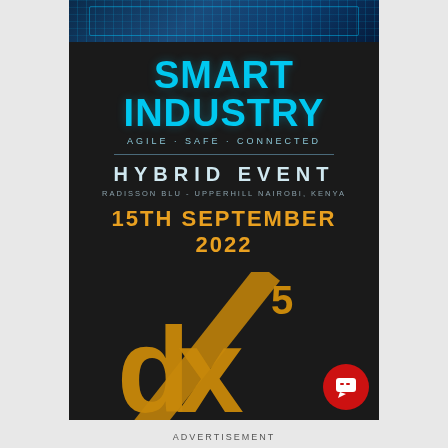[Figure (logo): Top banner with dark blue circuit board pattern and cyan grid lines]
SMART INDUSTRY
AGILE · SAFE · CONNECTED
HYBRID EVENT
RADISSON BLU - UPPERHILL NAIROBI, KENYA
15TH SEPTEMBER 2022
[Figure (logo): dx5 logo in gold/yellow on dark background with diagonal slash, and CIO Africa branding below]
ADVERTISEMENT